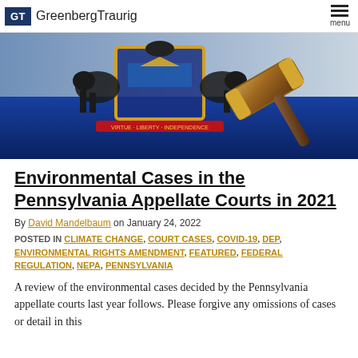GT Greenberg Traurig | menu
[Figure (photo): Hero banner showing Pennsylvania state coat of arms with two black horses flanking a shield with golden and blue heraldic elements, overlaid with a wooden judge's gavel on a blue background]
Environmental Cases in the Pennsylvania Appellate Courts in 2021
By David Mandelbaum on January 24, 2022
POSTED IN CLIMATE CHANGE, COURT CASES, COVID-19, DEP, ENVIRONMENTAL RIGHTS AMENDMENT, FEATURED, FEDERAL REGULATION, NEPA, PENNSYLVANIA
A review of the environmental cases decided by the Pennsylvania appellate courts last year follows. Please forgive any omissions of cases or detail in this